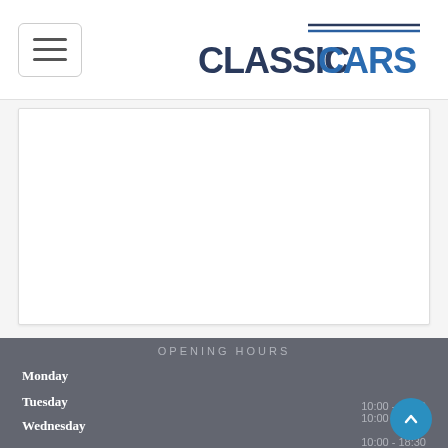Classic Cars - Navigation header with hamburger menu and logo
[Figure (screenshot): White content area placeholder box]
OPENING HOURS
Monday  10:00 - 18:30
Tuesday  10:00 - 18:30
Wednesday  10:00 - 18:30
Thursday  10:00 - 18:30
Friday